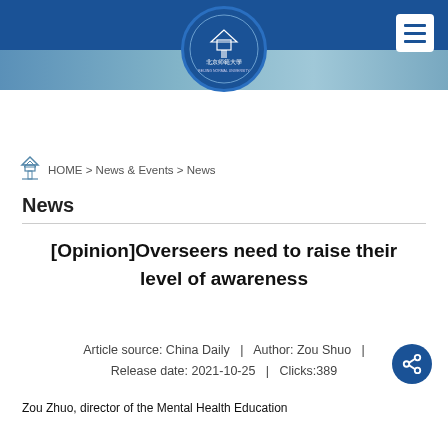[Figure (logo): Beijing Normal University circular logo with Chinese text 北京师范大学 and BEIJING NORMAL UNIVERSITY on blue background]
HOME > News & Events > News
News
[Opinion]Overseers need to raise their level of awareness
Article source: China Daily  |  Author: Zou Shuo  |  Release date: 2021-10-25  |  Clicks:389
Zou Zhuo, director of the Mental Health Education...